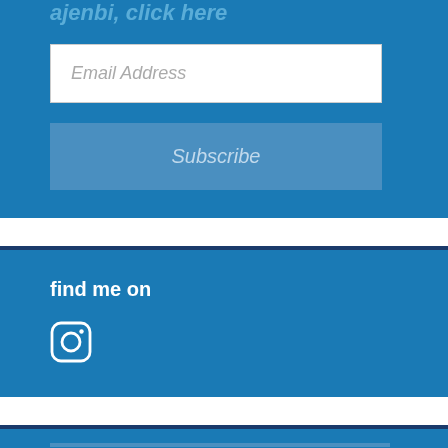ajenbi, click here
Email Address
Subscribe
find me on
[Figure (logo): Instagram icon (white outline on blue background)]